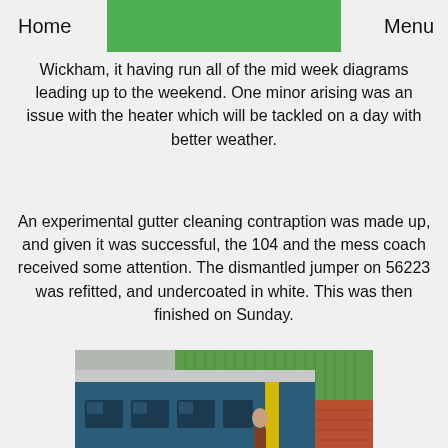Home   Menu
Wickham, it having run all of the mid week diagrams leading up to the weekend. One minor arising was an issue with the heater which will be tackled on a day with better weather.
An experimental gutter cleaning contraption was made up, and given it was successful, the 104 and the mess coach received some attention. The dismantled jumper on 56223 was refitted, and undercoated in white. This was then finished on Sunday.
[Figure (photo): A blue train/railcar viewed from the side near a green corrugated metal building and a red brick wall]